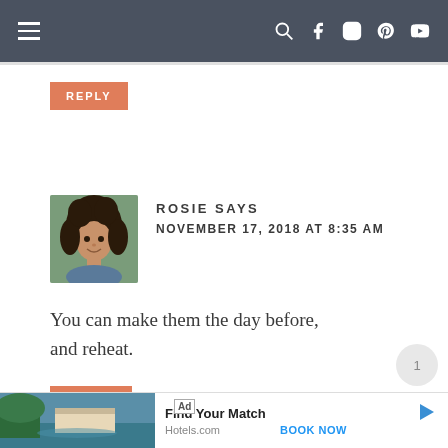Navigation bar with hamburger menu and social icons
REPLY
[Figure (photo): Avatar photo of Rosie, a woman with curly dark hair, smiling]
ROSIE SAYS
NOVEMBER 17, 2018 AT 8:35 AM
You can make them the day before, and reheat.
REPLY
[Figure (infographic): Ad banner: Hotels.com - Find Your Match, BOOK NOW]